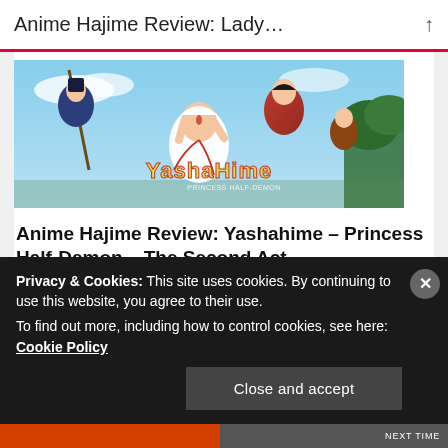Anime Hajime Review: Lady…
[Figure (illustration): Anime promotional art for Yashahime: Princess Half-Demon showing multiple anime characters in action poses against a blue sky background, with the Yashahime logo visible]
Anime Hajime Review: Yashahime – Princess Half-Demon – The Second Act
Privacy & Cookies: This site uses cookies. By continuing to use this website, you agree to their use.
To find out more, including how to control cookies, see here: Cookie Policy